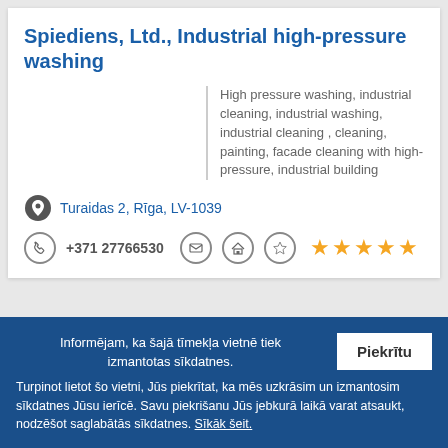Spiediens, Ltd., Industrial high-pressure washing
High pressure washing, industrial cleaning, industrial washing, industrial cleaning , cleaning, painting, facade cleaning with high-pressure, industrial building
Turaidas 2, Rīga, LV-1039
+371 27766530
I un M serviss, LTD
Māris Mellups, motorcycle repair
Informējam, ka šajā tīmekļa vietnē tiek izmantotas sīkdatnes. Turpinot lietot šo vietni, Jūs piekrītat, ka mēs uzkrāsim un izmantosim sīkdatnes Jūsu ierīcē. Savu piekrišanu Jūs jebkurā laikā varat atsaukt, nodzēšot saglabātās sīkdatnes. Sīkāk šeit.